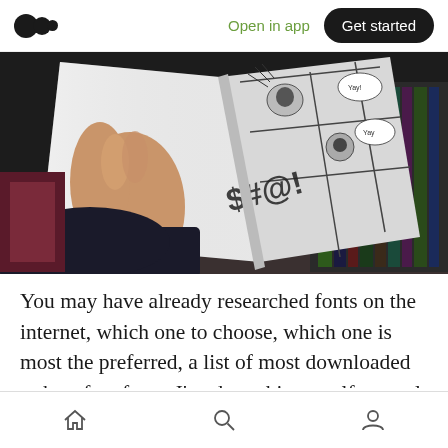Open in app   Get started
[Figure (photo): A person's hand holding open a manga/comic book, showing black-and-white illustrated panels with action scenes and speech bubbles. In the background, a shelf with colorful book spines is visible.]
You may have already researched fonts on the internet, which one to choose, which one is most the preferred, a list of most downloaded or best free fonts. I've done this myself several times, and why do we do it? There are many reasons, such